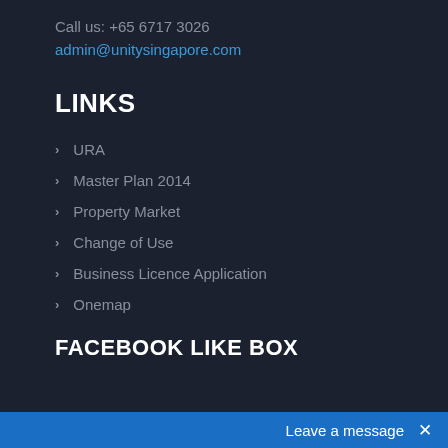Call us: +65 6717 3026
admin@unitysingapore.com
LINKS
URA
Master Plan 2014
Property Market
Change of Use
Business Licence Application
Onemap
FACEBOOK LIKE BOX
Leave a message  ×